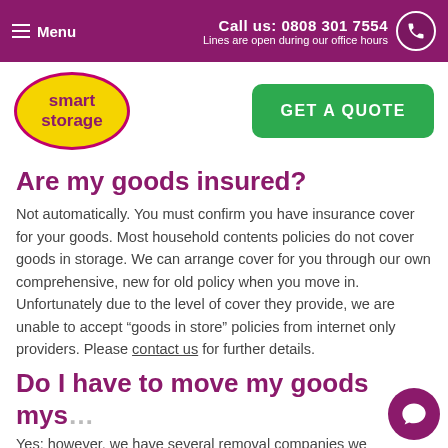Menu | Call us: 0808 301 7554 | Lines are open during our office hours
[Figure (logo): Smart Storage logo — yellow oval with purple text and pink border, alongside green GET A QUOTE button]
Are my goods insured?
Not automatically. You must confirm you have insurance cover for your goods. Most household contents policies do not cover goods in storage. We can arrange cover for you through our own comprehensive, new for old policy when you move in. Unfortunately due to the level of cover they provide, we are unable to accept “goods in store” policies from internet only providers. Please contact us for further details.
Do I have to move my goods mys…
Yes; however, we have several removal companies we…